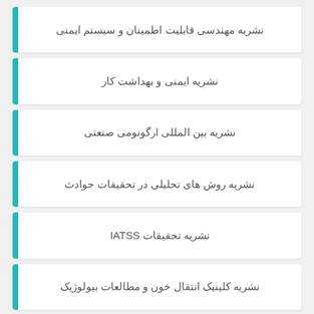نشریه مهندسی قابلیت اطمینان و سیستم ایمنی
نشریه ایمنی و بهداشت کار
نشریه بین المللی ارگونومی صنعتی
نشریه روش های تحلیلی در تحقیقات حوادث
نشریه تحقیقات IATSS
نشریه کلینیک انتقال خون و مطالعات بیولوژیک